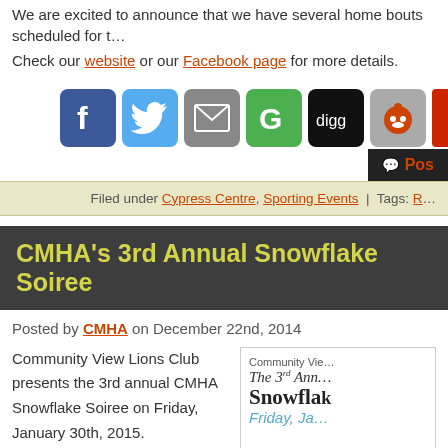We are excited to announce that we have several home bouts scheduled for t...
Check our website or our Facebook page for more details.
[Figure (illustration): Social media sharing icons: Facebook (blue), Twitter (light blue), Email (grey), Google+ (green), Digg (black), Reddit (grey), and a partially visible red icon]
Post (comment button)
Filed under Cypress Centre, Sporting Events | Tags: R...
CMHA's 3rd Annual Snowflake Soiree
Posted by CMHA on December 22nd, 2014
Community View Lions Club presents the 3rd annual CMHA Snowflake Soiree on Friday, January 30th, 2015.
[Figure (illustration): Event card showing 'Community View... The 3rd Annual Snowflake Soiree Friday, Jan...' with teal and black typography]
Taking place at Higdon Hall. Cocktails will begin at